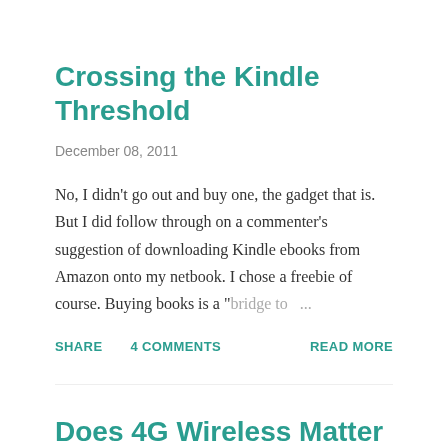Crossing the Kindle Threshold
December 08, 2011
No, I didn't go out and buy one, the gadget that is. But I did follow through on a commenter's suggestion of downloading Kindle ebooks from Amazon onto my netbook. I chose a freebie of course. Buying books is a "bridge to ...
SHARE   4 COMMENTS   READ MORE
Does 4G Wireless Matter to